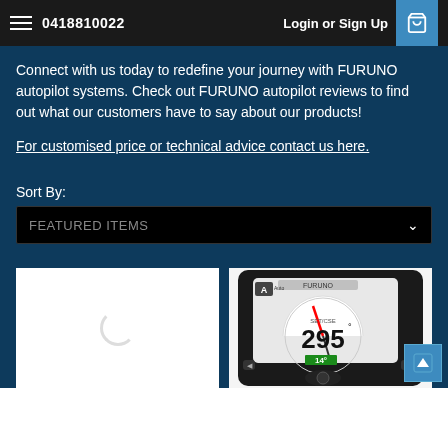0418810022   Login or Sign Up
Connect with us today to redefine your journey with FURUNO autopilot systems. Check out FURUNO autopilot reviews to find out what our customers have to say about our products!
For customised price or technical advice contact us here.
Sort By:
FEATURED ITEMS
[Figure (screenshot): Loading spinner placeholder for a product card]
[Figure (photo): Furuno autopilot control unit showing display with heading 295 degrees and value 14, black device with round knob]